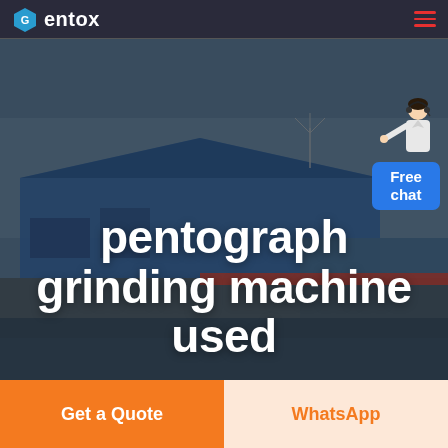Gentox
[Figure (photo): Aerial view of a large industrial factory complex with blue-roofed warehouse buildings and surrounding landscape, serving as hero background image.]
pentograph grinding machine used
[Figure (illustration): Customer service representative figure with a blue 'Free chat' button widget in top-right corner.]
Get a Quote
WhatsApp